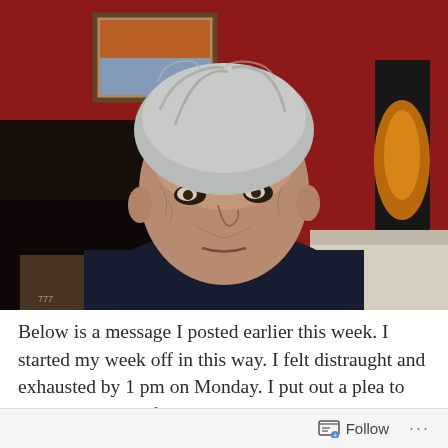[Figure (photo): An elderly woman with short white/gray hair, wearing a dark navy top, looking directly at the camera with an intense expression. She is seated in a room with red walls, a framed painting on the wall, dark furniture with various objects, and what appears to be a tall lamp on the right side.]
Below is a message I posted earlier this week. I started my week off in this way. I felt distraught and exhausted by 1 pm on Monday. I put out a plea to my social media friends – and also to let people know – I am not doing
Follow ···